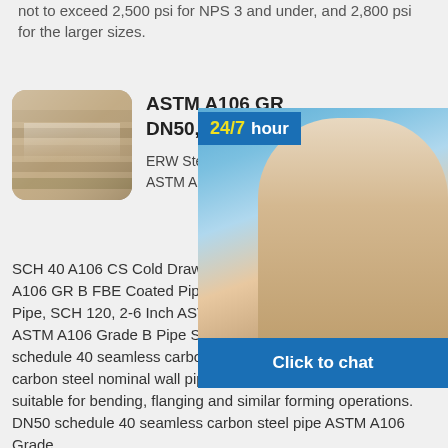not to exceed 2,500 psi for NPS 3 and under, and 2,800 psi for the larger sizes.
[Figure (photo): Photo of steel plates/pipes stacked in an industrial setting, shown as a product image with rounded corners]
ASTM A106 GR... DN50, 6M, SCH...
ERW Steel Pipe, A... ASTM A106 Gr.B SM... SCH 40 A106 CS Cold Drawn Pipe, 11/2 In... A106 GR B FBE Coated Pipe, 10 Inch ASTM... Pipe, SCH 120, 2-6 Inch ASTM A106 GR A /... ASTM A106 Grade B Pipe Suppliers, A106... schedule 40 seamless carbon steel pipeC... carbon steel nominal wall pipe for high-temperature service, suitable for bending, flanging and similar forming operations. DN50 schedule 40 seamless carbon steel pipe ASTM A106 Grade B Schedule 40 Pipe. ASTM A106 Grade B Schedule 80 Pipe. ASTM A106 Grade B Schedule 60 Pipe. A53 Pipe vs A106 Pipe (4) Mechanical Properties. Grade A Grade BASTM A106 Pipe
[Figure (photo): Customer service photo showing two people with headsets, with 24/7 hour label and Click to chat bar, plus icons for agent, phone, and Skype]